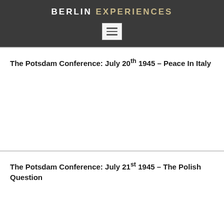BERLIN EXPERIENCES
The Potsdam Conference: July 20th 1945 – Peace In Italy
[Figure (other): Empty white image placeholder area]
The Potsdam Conference: July 21st 1945 – The Polish Question